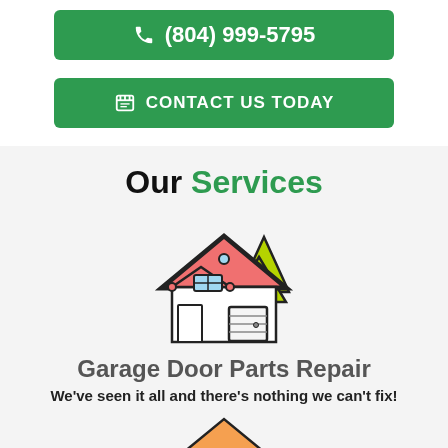(804) 999-5795
CONTACT US TODAY
Our Services
[Figure (illustration): Illustration of a house with a garage door and a green tree, cartoon style with red roof, used as a service category icon.]
Garage Door Parts Repair
We've seen it all and there's nothing we can't fix!
[Figure (illustration): Partial illustration of a house rooftop (red/orange roof peak visible at bottom of page), likely the icon for the next service.]